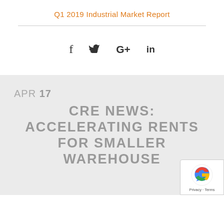Q1 2019 Industrial Market Report
[Figure (other): Social media sharing icons: Facebook (f), Twitter (bird), Google+ (G+), LinkedIn (in)]
APR 17
CRE NEWS: ACCELERATING RENTS FOR SMALLER WAREHOUSE